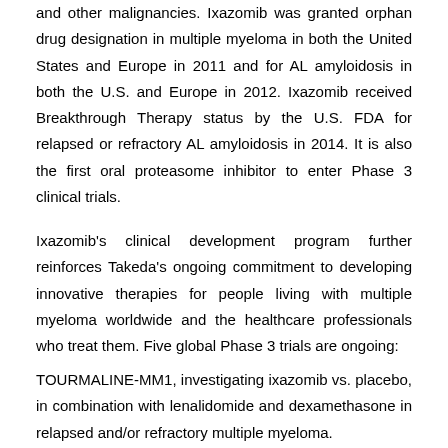and other malignancies. Ixazomib was granted orphan drug designation in multiple myeloma in both the United States and Europe in 2011 and for AL amyloidosis in both the U.S. and Europe in 2012. Ixazomib received Breakthrough Therapy status by the U.S. FDA for relapsed or refractory AL amyloidosis in 2014. It is also the first oral proteasome inhibitor to enter Phase 3 clinical trials.
Ixazomib's clinical development program further reinforces Takeda's ongoing commitment to developing innovative therapies for people living with multiple myeloma worldwide and the healthcare professionals who treat them. Five global Phase 3 trials are ongoing:
TOURMALINE-MM1, investigating ixazomib vs. placebo, in combination with lenalidomide and dexamethasone in relapsed and/or refractory multiple myeloma.